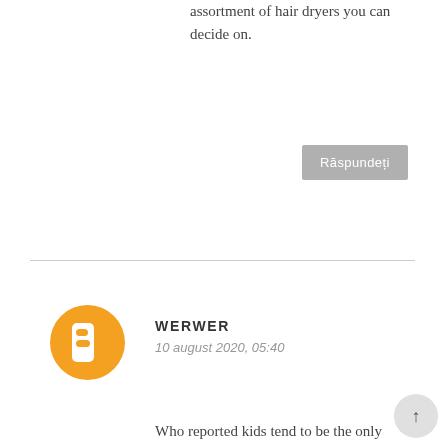assortment of hair dryers you can decide on.
Răspundeți
WERWER
10 august 2020, 05:40
Who reported kids tend to be the only kinds that can have some fun? It's a heat summer months day and you simply are during the office with (with any luck ,) the AC on, you may be